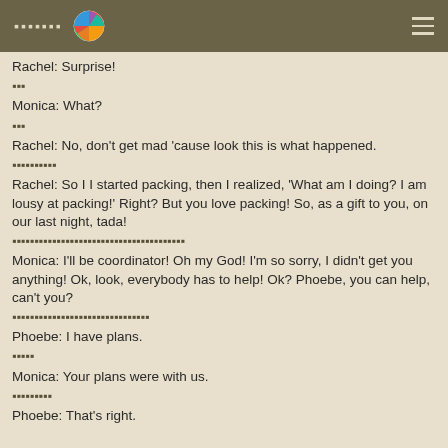▪▪▪▪▪▪▪
Rachel: Surprise!
▪▪▪
Monica: What?
▪▪▪
Rachel: No, don't get mad 'cause look this is what happened.
▪▪▪▪▪▪▪▪▪▪
Rachel: So I I started packing, then I realized, 'What am I doing? I am lousy at packing!' Right? But you love packing! So, as a gift to you, on our last night, tada!
▪▪▪▪▪▪▪▪▪▪▪▪▪▪▪▪▪▪▪▪▪▪▪▪▪▪▪▪▪▪▪▪▪▪▪▪▪▪▪
Monica: I'll be coordinator! Oh my God! I'm so sorry, I didn't get you anything! Ok, look, everybody has to help! Ok? Phoebe, you can help, can't you?
▪▪▪▪▪▪▪▪▪▪▪▪▪▪▪▪▪▪▪▪▪▪▪▪▪▪▪▪▪▪▪
Phoebe: I have plans.
▪▪▪▪▪
Monica: Your plans were with us.
▪▪▪▪▪▪▪▪▪
Phoebe: That's right.